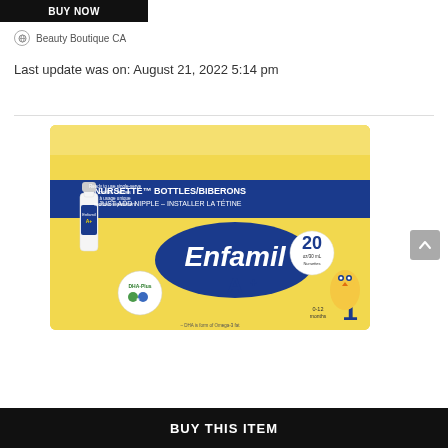[Figure (screenshot): BUY NOW black button bar at top]
Beauty Boutique CA
Last update was on: August 21, 2022 5:14 pm
[Figure (photo): Enfamil A+ Nursette Bottles/Biberons product box — yellow box with blue Enfamil logo, DHA-Plus badge, 20 pack, 0-12 months, Just Add Nipple / Installer La Tetine]
[Figure (screenshot): BUY THIS ITEM black button bar at bottom]